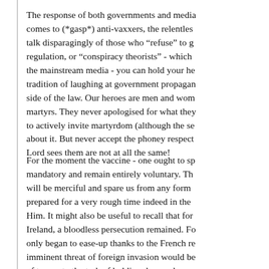The response of both governments and media comes to (*gasp*) anti-vaxxers, the relentless talk disparagingly of those who “refuse” to g regulation, or “conspiracy theorists” - which the mainstream media - you can hold your he tradition of laughing at government propagan side of the law. Our heroes are men and wom martyrs. They never apologised for what they to actively invite martyrdom (although the se about it. But never accept the phoney respect Lord sees them are not at all the same!
For the moment the vaccine - one ought to sp mandatory and remain entirely voluntary. Th will be merciful and spare us from any form prepared for a very rough time indeed in the Him. It might also be useful to recall that for Ireland, a bloodless persecution remained. Fo only began to ease-up thanks to the French re imminent threat of foreign invasion would be of troops to the task of holding down a large Mr. William Cobbett. We will quote him at s